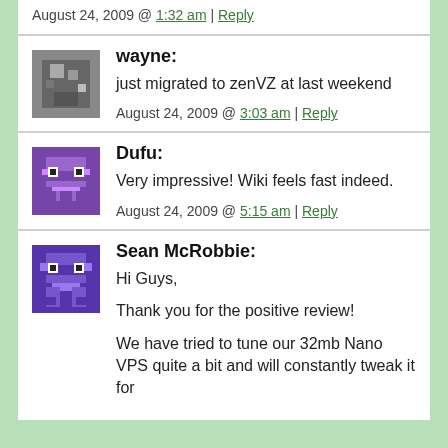August 24, 2009 @ 1:32 am | Reply
wayne: just migrated to zenVZ at last weekend
August 24, 2009 @ 3:03 am | Reply
Dufu: Very impressive! Wiki feels fast indeed.
August 24, 2009 @ 5:15 am | Reply
Sean McRobbie: Hi Guys,
Thank you for the positive review!
We have tried to tune our 32mb Nano VPS quite a bit and will constantly tweak it for